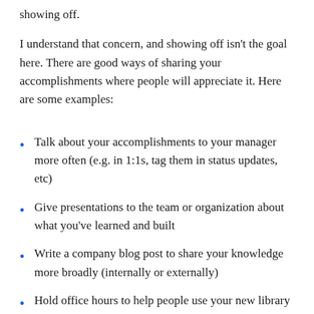showing off.
I understand that concern, and showing off isn't the goal here. There are good ways of sharing your accomplishments where people will appreciate it. Here are some examples:
Talk about your accomplishments to your manager more often (e.g. in 1:1s, tag them in status updates, etc)
Give presentations to the team or organization about what you've learned and built
Write a company blog post to share your knowledge more broadly (internally or externally)
Hold office hours to help people use your new library